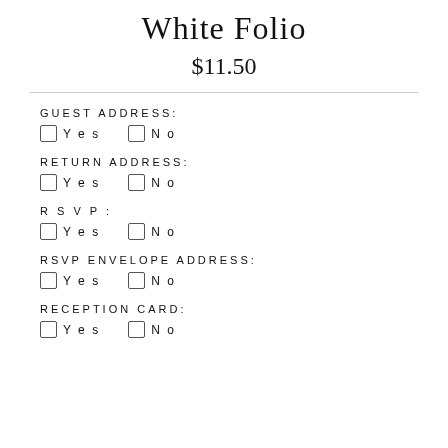White Folio
$11.50
GUEST ADDRESS: Yes No
RETURN ADDRESS: Yes No
RSVP: Yes No
RSVP ENVELOPE ADDRESS: Yes No
RECEPTION CARD: Yes No